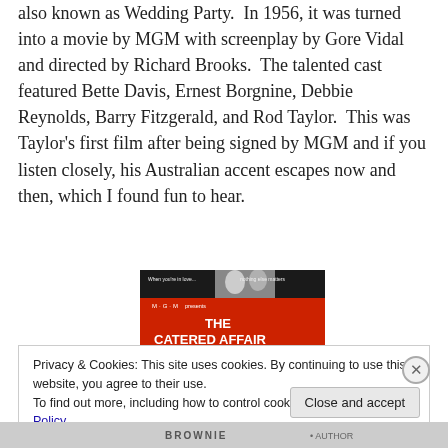also known as Wedding Party. In 1956, it was turned into a movie by MGM with screenplay by Gore Vidal and directed by Richard Brooks. The talented cast featured Bette Davis, Ernest Borgnine, Debbie Reynolds, Barry Fitzgerald, and Rod Taylor. This was Taylor's first film after being signed by MGM and if you listen closely, his Australian accent escapes now and then, which I found fun to hear.
[Figure (photo): Movie poster for 'The Catered Affair' presented by MGM, with red background and black-and-white photo of two people at the top. Text reads: 'When you're in love... nothing else matters', 'M·G·M presents', 'THE CATERED AFFAIR'.]
Privacy & Cookies: This site uses cookies. By continuing to use this website, you agree to their use.
To find out more, including how to control cookies, see here: Cookie Policy